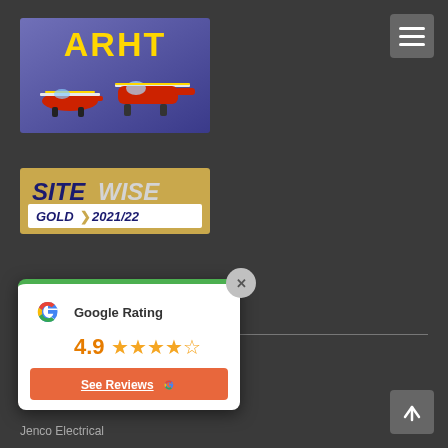[Figure (logo): ARHT helicopter rescue logo with two red and yellow helicopters on a blue/purple background with yellow ARHT text]
[Figure (logo): SiteWise Gold 2021/22 certification logo on gold/tan background with dark navy text]
[Figure (logo): Master Electricians logo with yellow checkmark and white bold text on dark background]
[Figure (infographic): Google Rating popup card showing 4.9 stars and See Reviews button]
Jenco Electrical